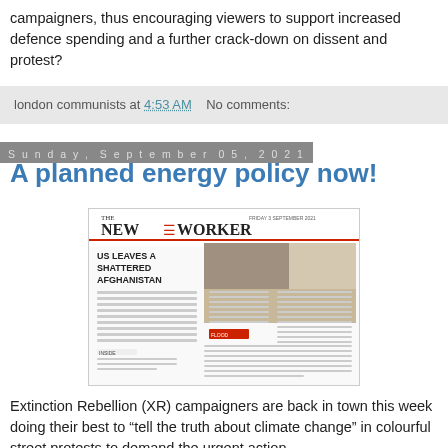campaigners, thus encouraging viewers to support increased defence spending and a further crack-down on dissent and protest?
london communists at 4:53 AM   No comments:
Sunday, September 05, 2021
A planned energy policy now!
[Figure (photo): Front page of The New Worker newspaper with headline 'US LEAVES A SHATTERED AFGHANISTAN' and photo of soldiers]
Extinction Rebellion (XR) campaigners are back in town this week doing their best to “tell the truth about climate change” in colourful street protests to demand the urgent action